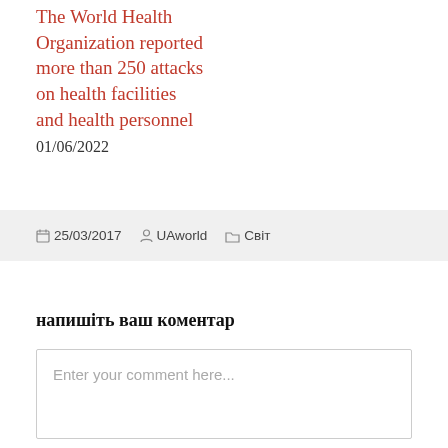The World Health Organization reported more than 250 attacks on health facilities and health personnel
01/06/2022
25/03/2017  UAworld  Світ
напишіть ваш коментар
Enter your comment here...